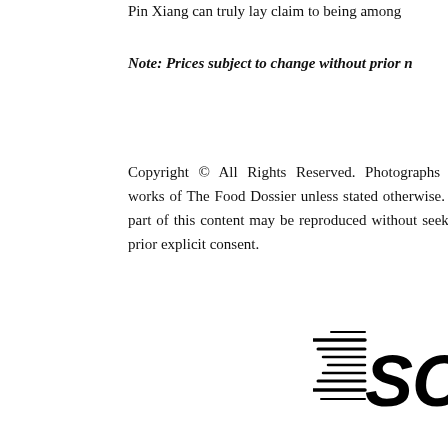Pin Xiang can truly lay claim to being among
Note: Prices subject to change without prior notice.
Copyright © All Rights Reserved. Photographs are works of The Food Dossier unless stated otherwise. No part of this content may be reproduced without seeking prior explicit consent.
[Figure (logo): SCORED logo with speed lines on the left side of the text, bold italic font]